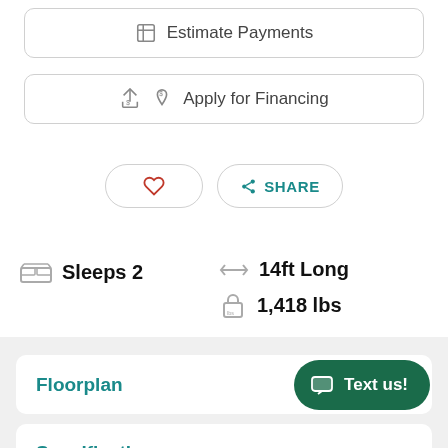Estimate Payments
Apply for Financing
SHARE
Sleeps 2
14ft Long
1,418 lbs
Floorplan
Specifications
Text us!